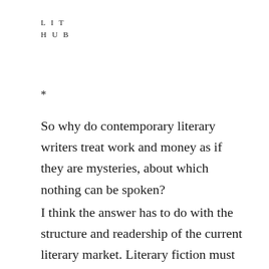LIT
HUB
*
So why do contemporary literary writers treat work and money as if they are mysteries, about which nothing can be spoken?
I think the answer has to do with the structure and readership of the current literary market. Literary fiction must cater to two groups. The